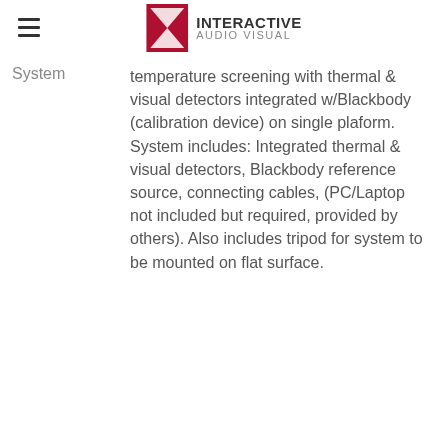INTERACTIVE AUDIO VISUAL
System | temperature screening with thermal & visual detectors integrated w/Blackbody (calibration device) on single plaform. System includes: Integrated thermal & visual detectors, Blackbody reference source, connecting cables, (PC/Laptop not included but required, provided by others). Also includes tripod for system to be mounted on flat surface.